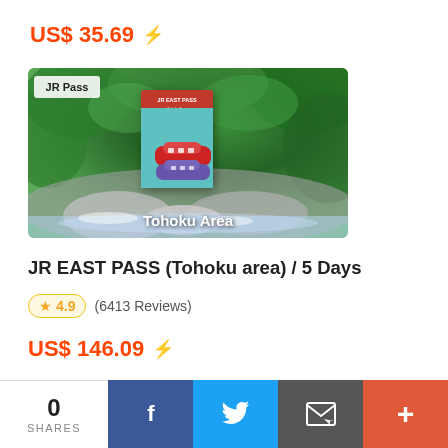US$ 35.69 ⚡
[Figure (photo): JR East Pass product image showing a lush green nature scene with a waterfall/stream, mossy rocks, and the JR East Pass card (Tohoku Area) in the center. Badge reads 'JR Pass' top-left, 'Tohoku Area' text bottom-center.]
JR EAST PASS (Tohoku area) / 5 Days
★ 4.9  (6413 Reviews)
US$ 146.09 ⚡
0 SHARES | Facebook | Twitter | Email | More